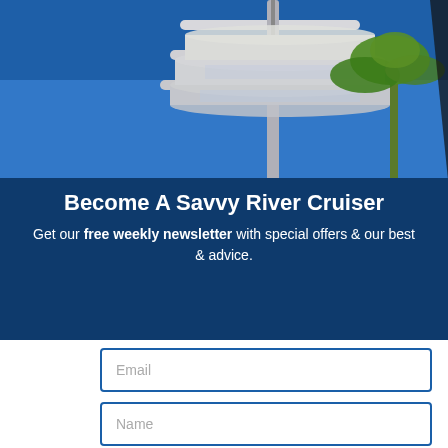[Figure (photo): Photograph of a circular modern tower building with antenna, palm tree visible against a blue sky. Partially cropped on the right side.]
Become A Savvy River Cruiser
Get our free weekly newsletter with special offers & our best & advice.
Email
Name
By subscribing you agree to our Terms & Privacy policy.
SUBSCRIBE